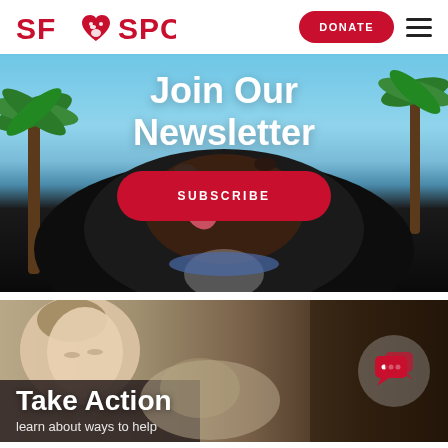SF SPCA — DONATE button and hamburger menu
[Figure (photo): A black dog photographed from below against a sky with palm trees. Overlay text reads 'Join Our Newsletter' with a SUBSCRIBE button.]
Join Our Newsletter
SUBSCRIBE
[Figure (photo): A person leaning over a cat in a shelter setting. A speech bubble / chat icon appears on the right side. Text reads 'Take Action' and 'learn about ways to help'.]
Take Action
learn about ways to help